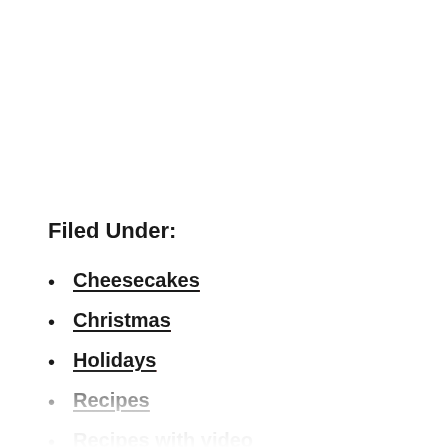Filed Under:
Cheesecakes
Christmas
Holidays
Recipes
Recipes with video
Sweets and Treats
Thanksgiving